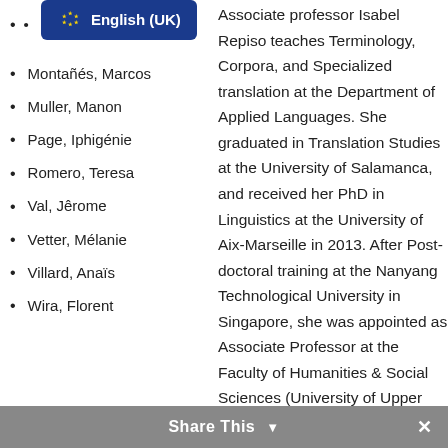English (UK)
Montañés, Marcos
Muller, Manon
Page, Iphigénie
Romero, Teresa
Val, Jêrome
Vetter, Mélanie
Villard, Anaïs
Wira, Florent
Associate professor Isabel Repiso teaches Terminology, Corpora, and Specialized translation at the Department of Applied Languages. She graduated in Translation Studies at the University of Salamanca, and received her PhD in Linguistics at the University of Aix-Marseille in 2013. After Post-doctoral training at the Nanyang Technological University in Singapore, she was appointed as Associate Professor at the Faculty of Humanities & Social Sciences (University of Upper Alsace) in 2015. In 2014 she has
Share This